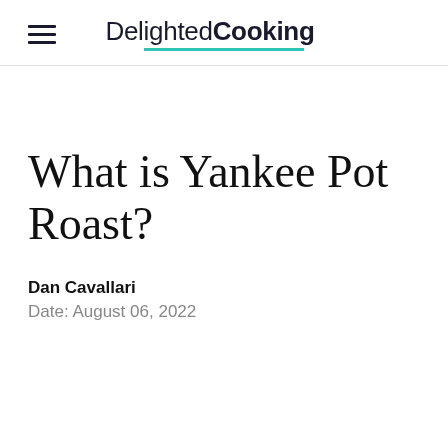DelightedCooking
What is Yankee Pot Roast?
Dan Cavallari
Date: August 06, 2022